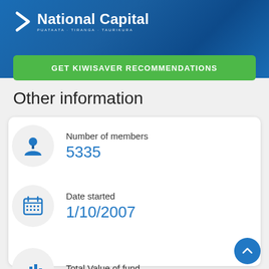[Figure (logo): National Capital logo with chevron icon and text 'National Capital' with Maori subtitle 'PUATAATA · TIRANGA · TAURIKURA']
GET KIWISAVER RECOMMENDATIONS
Other information
Number of members
5335
Date started
1/10/2007
Total Value of fund